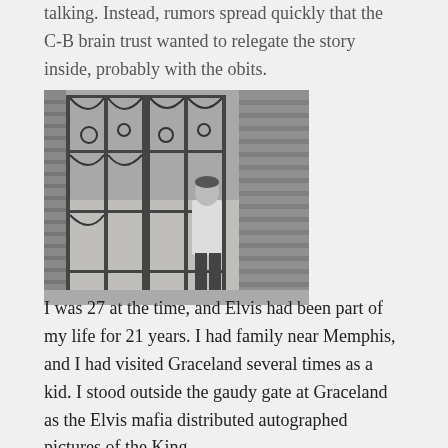talking. Instead, rumors spread quickly that the C-B brain trust wanted to relegate the story inside, probably with the obits.
[Figure (photo): Black and white photograph of a man in a white jacket standing at the ornate iron gates of Graceland, Elvis Presley's mansion. The decorative gates feature music note designs. Brick walls visible on the right side.]
I was 27 at the time, and Elvis had been part of my life for 21 years. I had family near Memphis, and I had visited Graceland several times as a kid. I stood outside the gaudy gate at Graceland as the Elvis mafia distributed autographed pictures of the King.